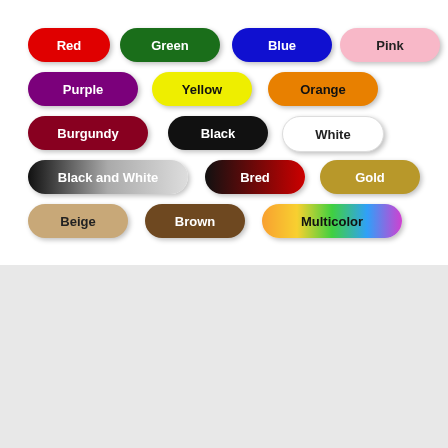[Figure (infographic): Color selection buttons in pill/capsule shapes: Red, Green, Blue, Pink, Purple, Yellow, Orange, Burgundy, Black, White, Black and White, Bred, Gold, Beige, Brown, Multicolor]
[Figure (logo): Kicks Guru logo with sneaker icon in light blue and text KICKS GURU below, plus social media icons (Facebook, Instagram, Pinterest, Twitter)]